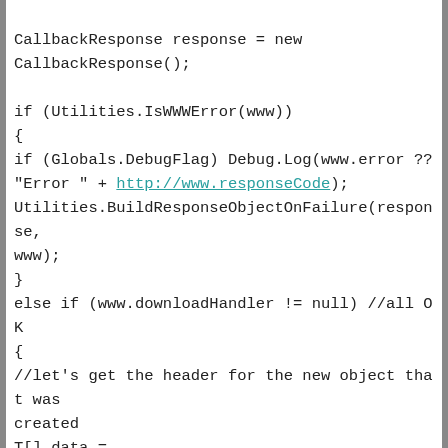CallbackResponse response = new CallbackResponse();

if (Utilities.IsWWWError(www))
{
if (Globals.DebugFlag) Debug.Log(www.error ?? "Error " + http://www.responseCode);
Utilities.BuildResponseObjectOnFailure(response, www);
}
else if (www.downloadHandler != null) //all OK
{
//let's get the header for the new object that was created
T[] data =
JsonHelper.GetJsonArrayFromTableStorage(www.downl
if (Globals.DebugFlag) Debug.Log("Received " +